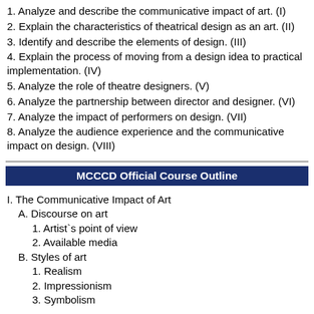1. Analyze and describe the communicative impact of art. (I)
2. Explain the characteristics of theatrical design as an art. (II)
3. Identify and describe the elements of design. (III)
4. Explain the process of moving from a design idea to practical implementation. (IV)
5. Analyze the role of theatre designers. (V)
6. Analyze the partnership between director and designer. (VI)
7. Analyze the impact of performers on design. (VII)
8. Analyze the audience experience and the communicative impact on design. (VIII)
MCCCD Official Course Outline
I. The Communicative Impact of Art
A. Discourse on art
1. Artist`s point of view
2. Available media
B. Styles of art
1. Realism
2. Impressionism
3. Symbolism